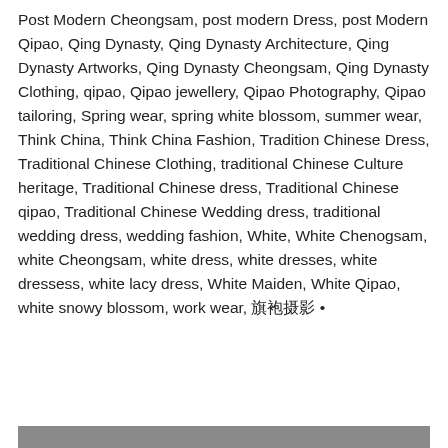Post Modern Cheongsam, post modern Dress, post Modern Qipao, Qing Dynasty, Qing Dynasty Architecture, Qing Dynasty Artworks, Qing Dynasty Cheongsam, Qing Dynasty Clothing, qipao, Qipao jewellery, Qipao Photography, Qipao tailoring, Spring wear, spring white blossom, summer wear, Think China, Think China Fashion, Tradition Chinese Dress, Traditional Chinese Clothing, traditional Chinese Culture heritage, Traditional Chinese dress, Traditional Chinese qipao, Traditional Chinese Wedding dress, traditional wedding dress, wedding fashion, White, White Chenogsam, white Cheongsam, white dress, white dresses, white dressess, white lacy dress, White Maiden, White Qipao, white snowy blossom, work wear, 旗袍摄影 •